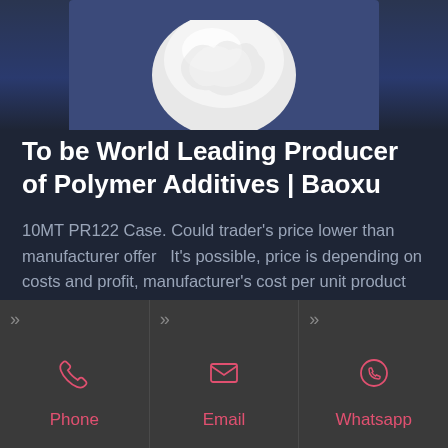[Figure (photo): White powder or spherical polymer material photographed on a blue/dark background, partially cropped at top]
To be World Leading Producer of Polymer Additives | Baoxu
10MT PR122 Case. Could trader's price lower than manufacturer offer  It's possible, price is depending on costs and profit, manufacturer's cost per unit product could be high and could be low. here is what we do to low price
Phone
Email
Whatsapp